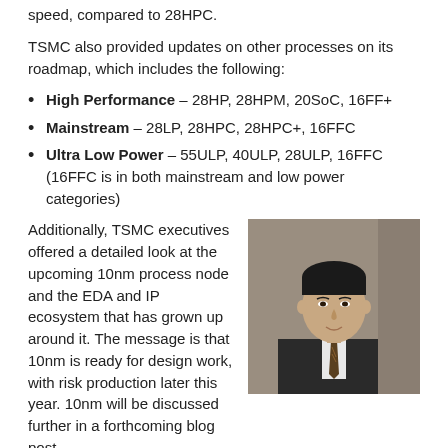speed, compared to 28HPC.
TSMC also provided updates on other processes on its roadmap, which includes the following:
High Performance – 28HP, 28HPM, 20SoC, 16FF+
Mainstream – 28LP, 28HPC, 28HPC+, 16FFC
Ultra Low Power – 55ULP, 40ULP, 28ULP, 16FFC (16FFC is in both mainstream and low power categories)
Additionally, TSMC executives offered a detailed look at the upcoming 10nm process node and the EDA and IP ecosystem that has grown up around it. The message is that 10nm is ready for design work, with risk production later this year. 10nm will be discussed further in a forthcoming blog post.
[Figure (photo): Photo of Dr. Mark Liu, TSMC President and Co-CEO, a man in a dark suit with a patterned tie, against a grey background.]
16FFC: Cost and Power Reduction
Dr. Mark Liu, TSMC President and Co-CEO (right), announced 16FFC in his keynote speech. He said that 16FFC has cost and power reduction advantages that "mainstream" markets demand. "By reducing nominal voltage to 0.55V, 16FFC reduces